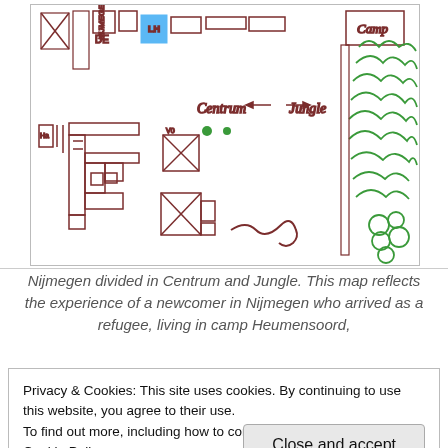[Figure (illustration): Hand-drawn map showing Nijmegen divided into Centrum and Jungle areas, with building outlines, street blocks, trees (green scribbles on right), and labels including 'NIJMEGEN', 'DE', 'Centrum', 'Jungle', 'Camp', and a signature. Brown/maroon ink on white paper with some blue highlighting.]
Nijmegen divided in Centrum and Jungle. This map reflects the experience of a newcomer in Nijmegen who arrived as a refugee, living in camp Heumensoord,
Privacy & Cookies: This site uses cookies. By continuing to use this website, you agree to their use.
To find out more, including how to control cookies, see here: Cookie Policy